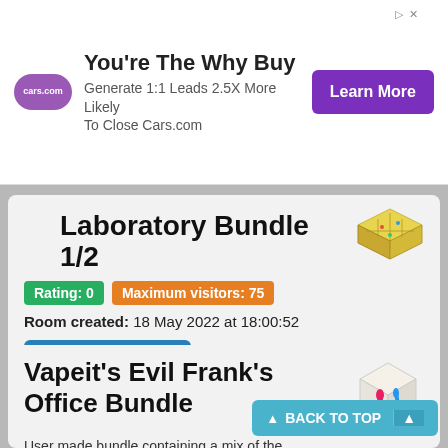[Figure (infographic): Cars.com advertisement banner with logo, headline 'You're The Why Buy', subtext, and Learn More button]
Laboratory Bundle 1/2
Rating: 0
Maximum visitors: 75
Room created: 18 May 2022 at 18:00:52
GO TO ROOM ›
Vapeit's Evil Frank's Office Bundle
User made bundle containing a mix of the Hunter furni AND old Habboween furni + an exclusive Evil Frank Bust!